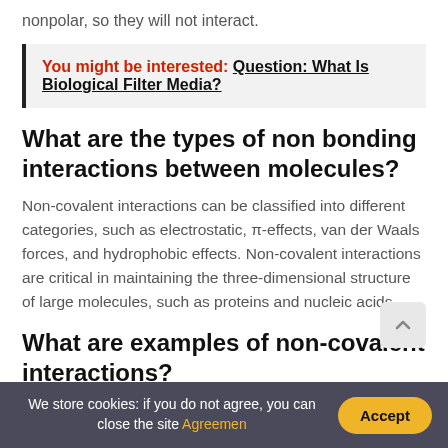nonpolar, so they will not interact.
You might be interested: Question: What Is Biological Filter Media?
What are the types of non bonding interactions between molecules?
Non-covalent interactions can be classified into different categories, such as electrostatic, π-effects, van der Waals forces, and hydrophobic effects. Non-covalent interactions are critical in maintaining the three-dimensional structure of large molecules, such as proteins and nucleic acids.
What are examples of non-covalent interactions?
We store cookies: if you do not agree, you can close the site Agreemen